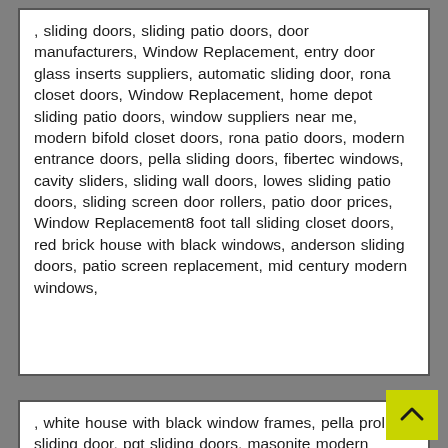, sliding doors, sliding patio doors, door manufacturers, Window Replacement, entry door glass inserts suppliers, automatic sliding door, rona closet doors, Window Replacement, home depot sliding patio doors, window suppliers near me, modern bifold closet doors, rona patio doors, modern entrance doors, pella sliding doors, fibertec windows, cavity sliders, sliding wall doors, lowes sliding patio doors, sliding screen door rollers, patio door prices, Window Replacement8 foot tall sliding closet doors, red brick house with black windows, anderson sliding doors, patio screen replacement, mid century modern windows,
, white house with black window frames, pella proline sliding door, pgt sliding doors, masonite modern interior doors, custom window manufacturers near me, mid century modern storm door, painting car windows blackmodern cottage front door